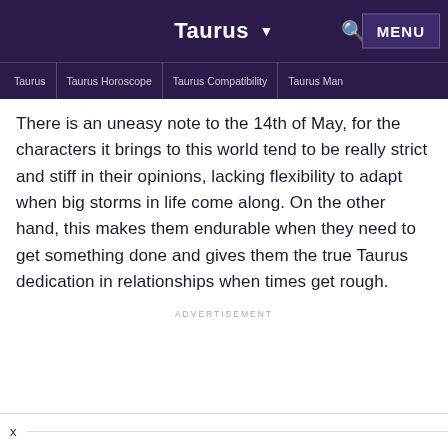Taurus ▼   🔍   MENU
Taurus | Taurus Horoscope | Taurus Compatibility | Taurus Man
There is an uneasy note to the 14th of May, for the characters it brings to this world tend to be really strict and stiff in their opinions, lacking flexibility to adapt when big storms in life come along. On the other hand, this makes them endurable when they need to get something done and gives them the true Taurus dedication in relationships when times get rough.
ADVERTISEMENT